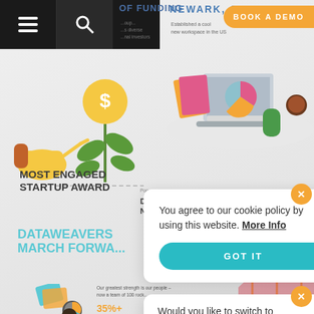[Figure (screenshot): Website screenshot showing navigation bar, funding info, NEWARK CA workspace, plant/money illustration, Most Engaged Startup Award, DataWeavers section, and 35%+ growth stat]
OF FUNDING
NEWARK, CA
Established a cool new workspace in the US
BOOK A DEMO
MOST ENGAGED STARTUP AWARD
DRAPER NETWO...
DATAWEAVERS MARCH FORWA...
Our greatest strength is our people – now a team of 100 rock...
35%+
growth in number of employees
You agree to our cookie policy by using this website. More Info
GOT IT
Would you like to switch to
United States
GO